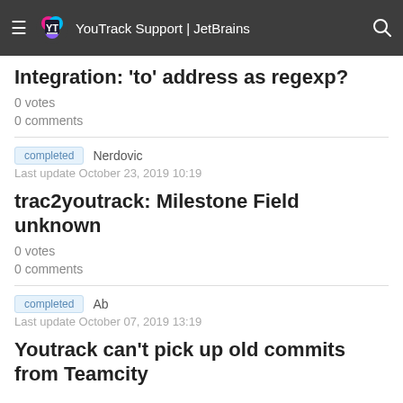YouTrack Support | JetBrains
Integration: 'to' address as regexp?
0 votes
0 comments
completed   Nerdovic
Last update October 23, 2019 10:19
trac2youtrack: Milestone Field unknown
0 votes
0 comments
completed   Ab
Last update October 07, 2019 13:19
Youtrack can't pick up old commits from Teamcity